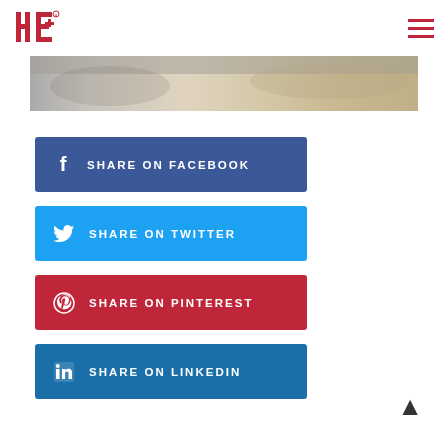HE logo and navigation menu
[Figure (photo): Partial top image with sandy/dusty landscape texture, cropped at the top of the page]
SHARE ON FACEBOOK
SHARE ON TWITTER
SHARE ON PINTEREST
SHARE ON LINKEDIN